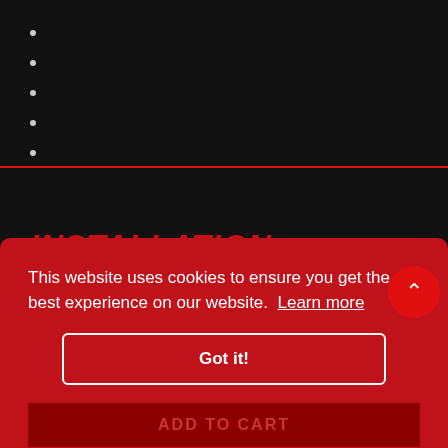•
•
•
•
•
INSTALLATION
Click here to download the install guide
This website uses cookies to ensure you get the best experience on our website.  Learn more
Got it!
ADD TO CART